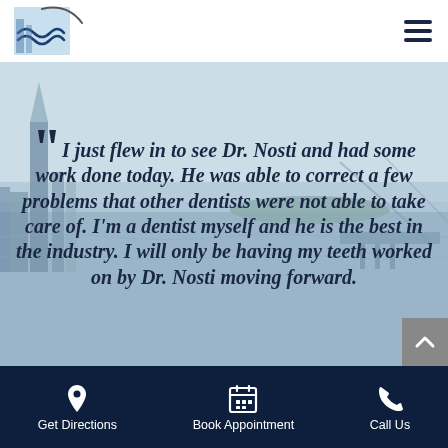[Figure (logo): Dental practice logo with wave/water design and building silhouette in blue tones]
[Figure (photo): Aerial photo of New York City skyline and waterfront, misty/hazy, showing One World Trade Center and Hudson River]
“ I just flew in to see Dr. Nosti and had some work done today. He was able to correct a few problems that other dentists were not able to take care of. I'm a dentist myself and he is the best in the industry. I will only be having my teeth worked on by Dr. Nosti moving forward.
Get Directions  Book Appointment  Call Us